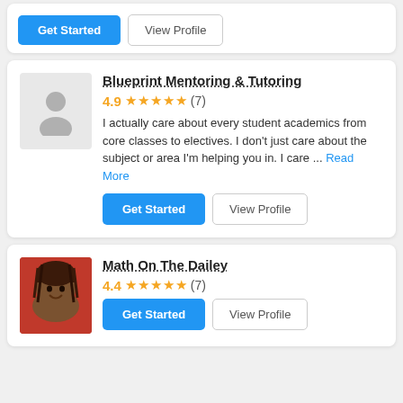Get Started  View Profile
Blueprint Mentoring & Tutoring
4.9 ★★★★★ (7)
I actually care about every student academics from core classes to electives. I don't just care about the subject or area I'm helping you in. I care ... Read More
Get Started  View Profile
Math On The Dailey
4.4 ★★★★★ (7)
Get Started  View Profile